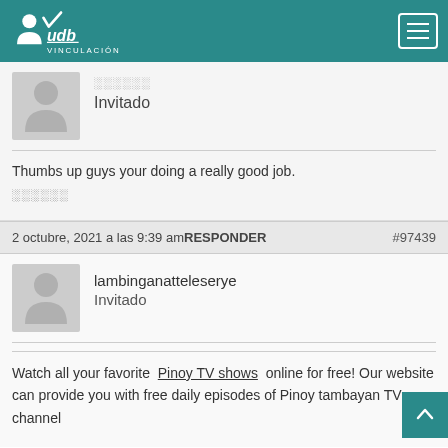UDB Vinculación
[Figure (illustration): Grey avatar silhouette placeholder image]
░░░░░░
Invitado
Thumbs up guys your doing a really good job.
░░░░░░
2 octubre, 2021 a las 9:39 am RESPONDER #97439
[Figure (illustration): Grey avatar silhouette placeholder image]
lambinganatteleserye
Invitado
Watch all your favorite Pinoy TV shows online for free! Our website can provide you with free daily episodes of Pinoy tambayan TV channel